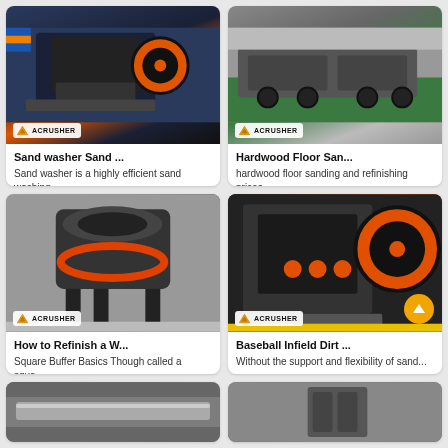[Figure (photo): Jaw crusher machine with orange and blue accents, ACRUSHER logo badge]
Sand washer Sand ...
Sand washer is a highly efficient sand washing...
[Figure (photo): Truck-mounted or mobile crushing equipment on green floor, ACRUSHER logo badge]
Hardwood Floor San...
hardwood floor sanding and refinishing prices...
[Figure (photo): VSI sand maker / cone crusher in industrial hall, ACRUSHER logo badge]
How to Refinish a W...
Square Buffer Basics Though called a squa...
[Figure (photo): Jaw crusher with orange flywheel and orange scroll-up button overlay, ACRUSHER logo badge]
Baseball Infield Dirt ...
Without the support and flexibility of sand...
[Figure (photo): Conveyor belt or industrial machine, partial view]
[Figure (photo): Industrial machine or equipment, partial view]